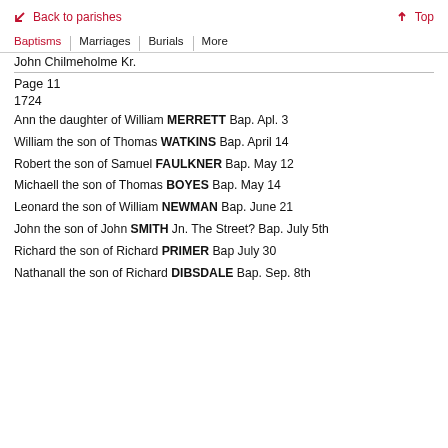↖ Back to parishes   ↑ Top
Baptisms   Marriages   Burials   More
John Chilmeholme Kr.
Page 11
1724
Ann the daughter of William MERRETT Bap. Apl. 3
William the son of Thomas WATKINS Bap. April 14
Robert the son of Samuel FAULKNER Bap. May 12
Michaell the son of Thomas BOYES Bap. May 14
Leonard the son of William NEWMAN Bap. June 21
John the son of John SMITH Jn. The Street? Bap. July 5th
Richard the son of Richard PRIMER Bap July 30
Nathanall the son of Richard DIBSDALE Bap. Sep. 8th